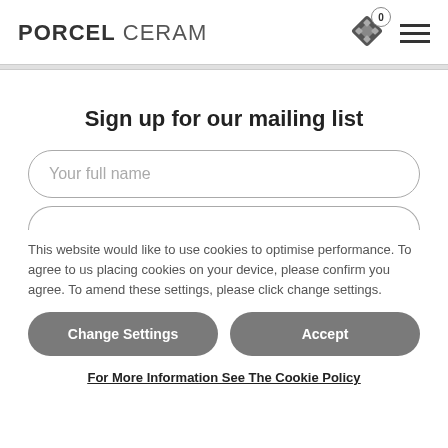PORCEL CERAM — logo with cart icon (0) and hamburger menu
Sign up for our mailing list
Your full name
This website would like to use cookies to optimise performance. To agree to us placing cookies on your device, please confirm you agree. To amend these settings, please click change settings.
Change Settings
Accept
For More Information See The Cookie Policy